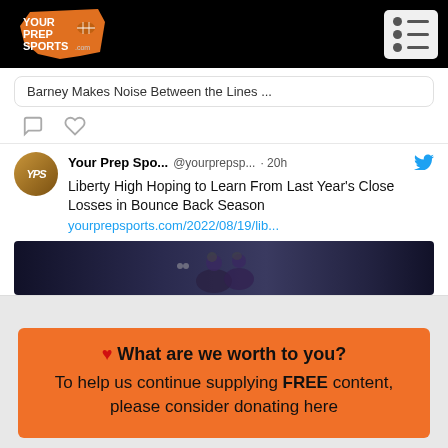Your Prep Sports .com
Barney Makes Noise Between the Lines ...
Your Prep Spo... @yourprepsp... · 20h
Liberty High Hoping to Learn From Last Year's Close Losses in Bounce Back Season
yourprepsports.com/2022/08/19/lib...
[Figure (photo): Football players in purple uniforms on dark field]
❤ What are we worth to you? To help us continue supplying FREE content, please consider donating here